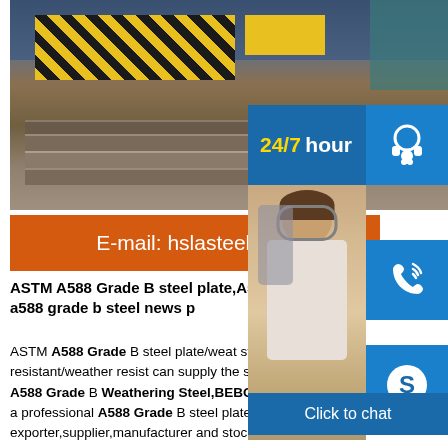[Figure (photo): Steel factory interior with crane, yellow machinery with diagonal stripes, and stacked metal sheets on the floor with worker visible in background]
[Figure (infographic): Blue support sidebar with 24/7 hour text, headset icon, phone icon, Skype icon, customer service representative photo, and Click to chat button]
E-mail: hslasteel@ye
ASTM A588 Grade B steel plate,A58 steel Best a588 grade b steel news p
ASTM A588 Grade B steel plate/weat steel/corrosion resistant/weather resist can supply the stock steel Grade A588 Grade B Weathering Steel,BEBON International is a professional A588 Grade B steel plates exporter,supplier,manufacturer and stockist in China.Any need in A588 Grade B Weathering Steel,please feel free to contact us! We will offer you the most competitive